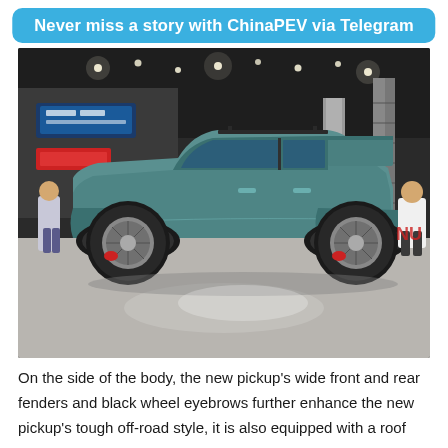Never miss a story with ChinaPEV via Telegram
[Figure (photo): Side view of a teal/green pickup truck at an auto show exhibition. The truck has wide fenders, black wheel arches, sporty alloy wheels with red brake calipers, and a tonneau cover over the bed. People and exhibition booths are visible in the background.]
On the side of the body, the new pickup's wide front and rear fenders and black wheel eyebrows further enhance the new pickup's tough off-road style, it is also equipped with a roof